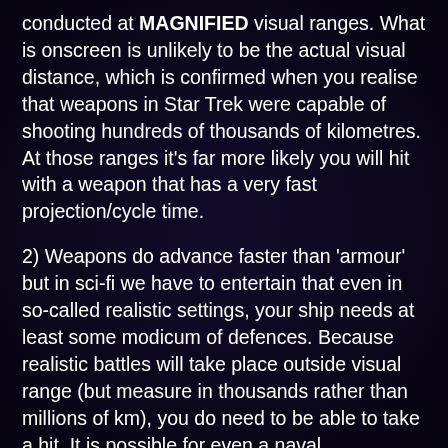conducted at MAGNIFIED visual ranges. What is onscreen is unlikely to be the actual visual distance, which is confirmed when you realise that weapons in Star Trek were capable of shooting hundreds of thousands of kilometres. At those ranges it's far more likely you will hit with a weapon that has a very fast projection/cycle time.
2) Weapons do advance faster than 'armour' but in sci-fi we have to entertain that even in so-called realistic settings, your ship needs at least some modicum of defences. Because realistic battles will take place outside visual range (but measure in thousands rather than millions of km), you do need to be able to take a hit. It is possible for even a naval